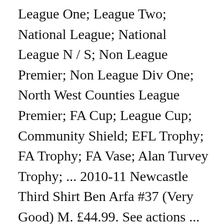League One; League Two; National League; National League N / S; Non League Premier; Non League Div One; North West Counties League Premier; FA Cup; League Cup; Community Shield; EFL Trophy; FA Trophy; FA Vase; Alan Turvey Trophy; ... 2010-11 Newcastle Third Shirt Ben Arfa #37 (Very Good) M. £44.99. See actions ... Premier League: what games are on this weekend? Newcastle United - Official Club Website icon_corner [28] Fan protests, however, continued on Ashley upon the club's home win against Peterborough United, with banners and chants being demonstrated against his plans before, during and after the match. NEWCASTLE United's financial affairs are today